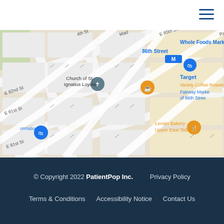[Figure (map): Google Maps screenshot showing Upper East Side Manhattan area with streets including E 81st St, E 82nd St, Park Ave. Landmarks shown include Church of St. Ignatius Loyola, 86th Street subway station, Whole Foods Market, Target, Variety Coffee Roasters, Fairway Market of 86th Street, Levain Bakery Upper East Side. Map pins shown in blue and orange.]
© Copyright 2022 PatientPop Inc.    Privacy Policy    Terms & Conditions    Accessibility Notice    Contact Us